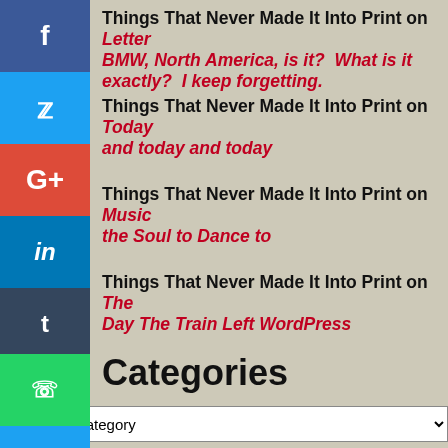Things That Never Made It Into Print on Letter BMW, North America, is it? What is it exactly? I keep forgetting.
Things That Never Made It Into Print on Today and today and today
Things That Never Made It Into Print on Music the Soul to Dance to
Things That Never Made It Into Print on The Day The Train Left WordPress
Categories
Select Category